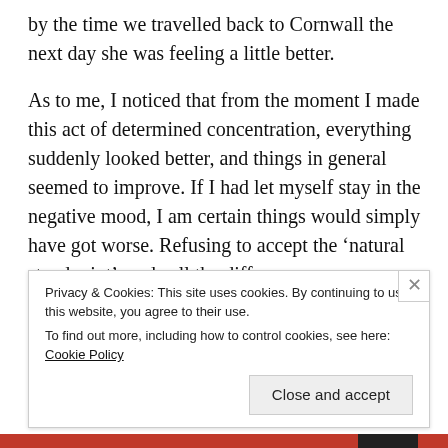by the time we travelled back to Cornwall the next day she was feeling a little better.
As to me, I noticed that from the moment I made this act of determined concentration, everything suddenly looked better, and things in general seemed to improve. If I had let myself stay in the negative mood, I am certain things would simply have got worse. Refusing to accept the ‘natural standpoint’ made all the difference.
All thi...
Privacy & Cookies: This site uses cookies. By continuing to use this website, you agree to their use.
To find out more, including how to control cookies, see here: Cookie Policy